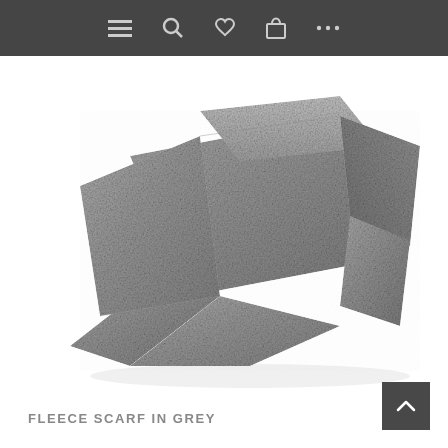Navigation bar with menu, search, wishlist, cart, and more icons
[Figure (photo): A grey fleece scarf folded and draped, displayed on a white background. The scarf is medium grey with a soft textured fleece surface.]
FLEECE SCARF IN GREY